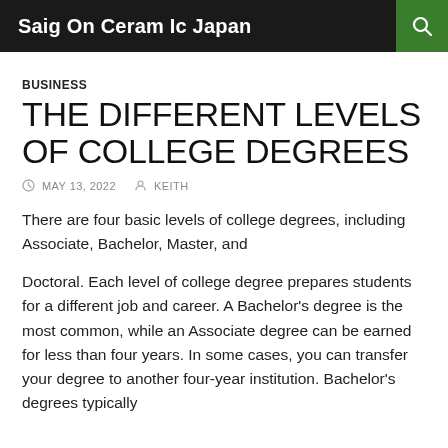Saig On Ceram Ic Japan
BUSINESS
THE DIFFERENT LEVELS OF COLLEGE DEGREES
MAY 13, 2022  KEITH
There are four basic levels of college degrees, including Associate, Bachelor, Master, and
Doctoral. Each level of college degree prepares students for a different job and career. A Bachelor's degree is the most common, while an Associate degree can be earned for less than four years. In some cases, you can transfer your degree to another four-year institution. Bachelor's degrees typically